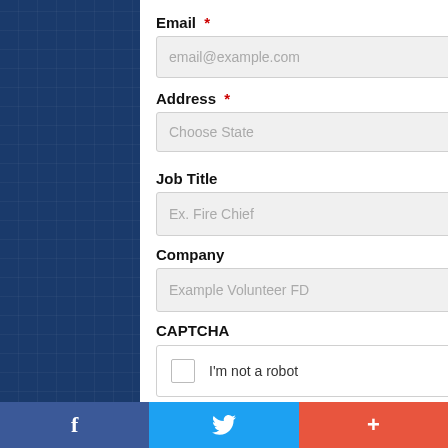Email *
email@example.com
Address *
Choose State
Job Title
Ex. Fire Chief
Company
Example Volunteer FD
CAPTCHA
I'm not a robot